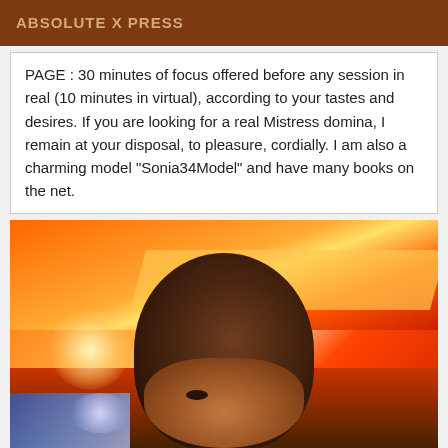ABSOLUTE X PRESS
PAGE : 30 minutes of focus offered before any session in real (10 minutes in virtual), according to your tastes and desires. If you are looking for a real Mistress domina, I remain at your disposal, to pleasure, cordially. I am also a charming model "Sonia34Model" and have many books on the net.
[Figure (photo): Photo of a person with short hair seen from slightly above, with colorful ambient lighting including orange/red ceiling lights and blue lights at the bottom.]